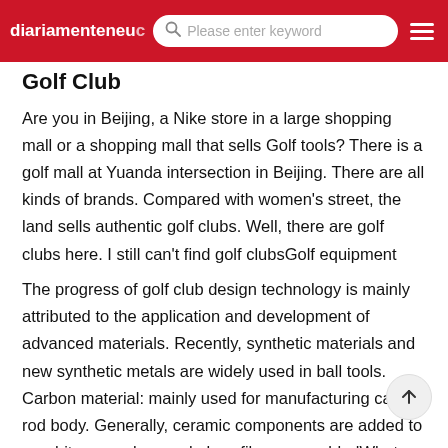diariamenteneu... Please enter keyword
Golf Club
Are you in Beijing, a Nike store in a large shopping mall or a shopping mall that sells Golf tools? There is a golf mall at Yuanda intersection in Beijing. There are all kinds of brands. Compared with women's street, the land sells authentic golf clubs. Well, there are golf clubs here. I still can't find golf clubsGolf equipment
The progress of golf club design technology is mainly attributed to the application and development of advanced materials. Recently, synthetic materials and new synthetic metals are widely used in ball tools. Carbon material: mainly used for manufacturing carbon rod body. Generally, ceramic components are added to graphite, or carbon and glass fibers are addedWhat golf tools do you sell in Nanjing Yunling golf of Olympic sports may be about the same price